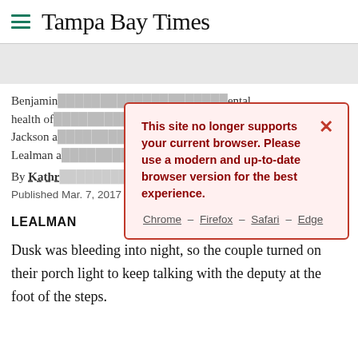Tampa Bay Times
Benjamin [partially obscured] mental health of [partially obscured] th Jackson a[partially obscured] he in the Lealman a[partially obscured]
[Figure (screenshot): Browser compatibility warning modal dialog with red border and pink background. Text reads: 'This site no longer supports your current browser. Please use a modern and up-to-date browser version for the best experience.' Links: Chrome – Firefox – Safari – Edge. Close button (X) in top right.]
By Kathr[yn partially obscured]
Published Mar. 7, 2017
LEALMAN
Dusk was bleeding into night, so the couple turned on their porch light to keep talking with the deputy at the foot of the steps.